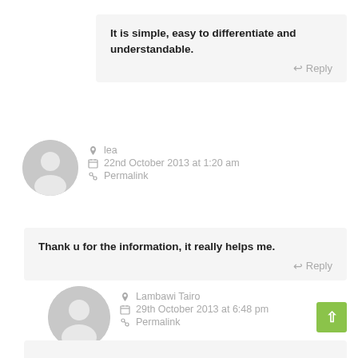It is simple, easy to differentiate and understandable.
Reply
lea
22nd October 2013 at 1:20 am
Permalink
Thank u for the information, it really helps me.
Reply
Lambawi Tairo
29th October 2013 at 6:48 pm
Permalink